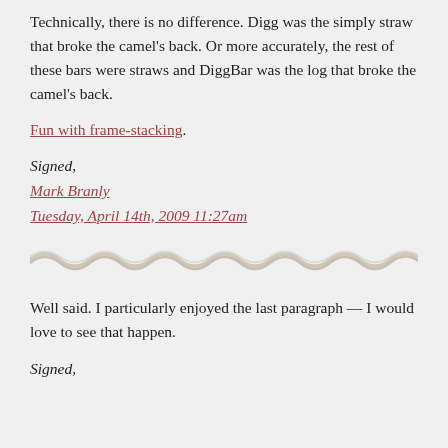Technically, there is no difference. Digg was the simply straw that broke the camel’s back. Or more accurately, the rest of these bars were straws and DiggBar was the log that broke the camel’s back.
Fun with frame-stacking.
Signed,
Mark Branly
Tuesday, April 14th, 2009 11:27am
[Figure (illustration): Decorative wavy divider line with a tan/beige color]
Well said. I particularly enjoyed the last paragraph — I would love to see that happen.
Signed,